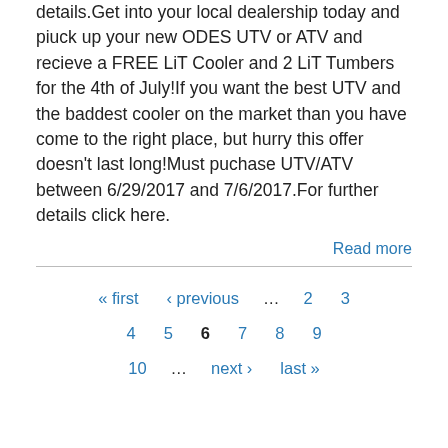details.Get into your local dealership today and piuck up your new ODES UTV or ATV and recieve a FREE LiT Cooler and 2 LiT Tumbers for the 4th of July!If you want the best UTV and the baddest cooler on the market than you have come to the right place, but hurry this offer doesn't last long!Must puchase UTV/ATV between 6/29/2017 and 7/6/2017.For further details click here.
Read more
« first ‹ previous … 2 3 4 5 6 7 8 9 10 … next › last »